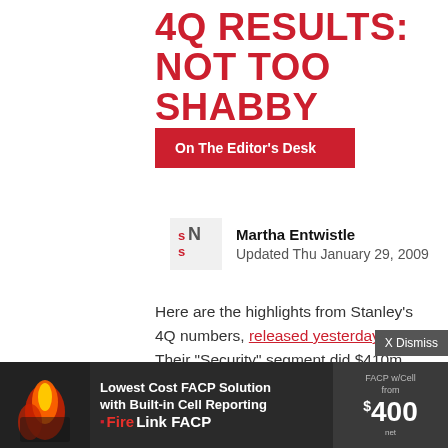4Q RESULTS: NOT TOO SHABBY
On The Editor's Desk
Martha Entwistle
Updated Thu January 29, 2009
Here are the highlights from Stanley's 4Q numbers, released yesterday: Their "Security" segment did $410m, with $75m of that profit. Nice margin of 18.4 percent. When you consider Stanley paid $545m to acquire HSM, and, conservatively, half of that profit is directly attributable to the
[Figure (advertisement): Advertisement banner for FireLink FACP: Lowest Cost FACP Solution with Built-in Cell Reporting, FACP w/Cell from $400]